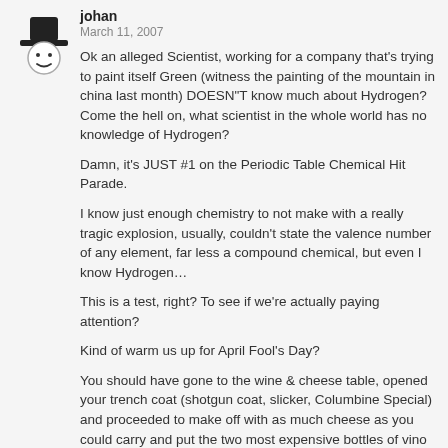[Figure (illustration): Cartoon avatar of a figure wearing a top hat, with simple dot eyes and a curved mouth line, black and white illustration]
johan
March 11, 2007
Ok an alleged Scientist, working for a company that's trying to paint itself Green (witness the painting of the mountain in china last month) DOESN"T know much about Hydrogen? Come the hell on, what scientist in the whole world has no knowledge of Hydrogen?
Damn, it's JUST #1 on the Periodic Table Chemical Hit Parade.
I know just enough chemistry to not make with a really tragic explosion, usually, couldn't state the valence number of any element, far less a compound chemical, but even I know Hydrogen…
This is a test, right? To see if we're actually paying attention?
Kind of warm us up for April Fool's Day?
You should have gone to the wine & cheese table, opened your trench coat (shotgun coat, slicker, Columbine Special) and proceeded to make off with as much cheese as you could carry and put the two most expensive bottles of vino in the inside pockets.